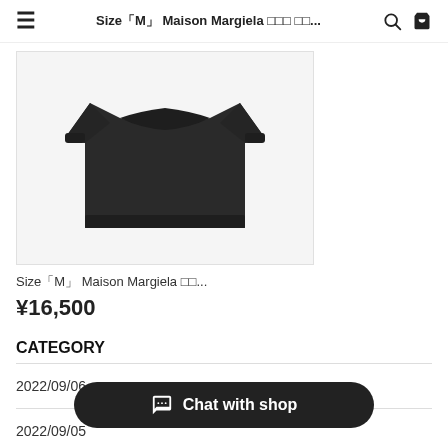Size「M」 Maison Margiela スウェットシャツ...
[Figure (photo): Black Maison Margiela sweatshirt on white background]
Size「M」 Maison Margiela ＿＿...
¥16,500
CATEGORY
2022/09/06
2022/09/05
2022/09/04